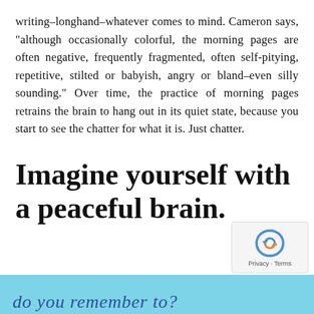writing–longhand–whatever comes to mind. Cameron says, "although occasionally colorful, the morning pages are often negative, frequently fragmented, often self-pitying, repetitive, stilted or babyish, angry or bland–even silly sounding." Over time, the practice of morning pages retrains the brain to hang out in its quiet state, because you start to see the chatter for what it is. Just chatter.
Imagine yourself with a peaceful brain.
[Figure (photo): A light blue strip at the bottom of the page with handwritten cursive text reading 'do you remember to?']